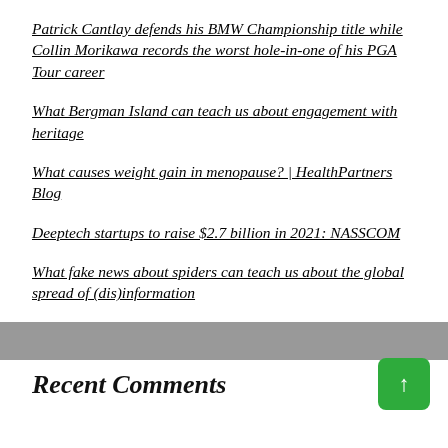Patrick Cantlay defends his BMW Championship title while Collin Morikawa records the worst hole-in-one of his PGA Tour career
What Bergman Island can teach us about engagement with heritage
What causes weight gain in menopause? | HealthPartners Blog
Deeptech startups to raise $2.7 billion in 2021: NASSCOM
What fake news about spiders can teach us about the global spread of (dis)information
Recent Comments